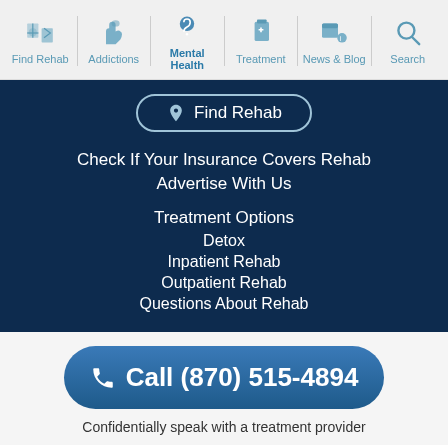Find Rehab | Addictions | Mental Health | Treatment | News & Blog | Search
Find Rehab
Check If Your Insurance Covers Rehab
Advertise With Us
Treatment Options
Detox
Inpatient Rehab
Outpatient Rehab
Questions About Rehab
Call (870) 515-4894
Confidentially speak with a treatment provider